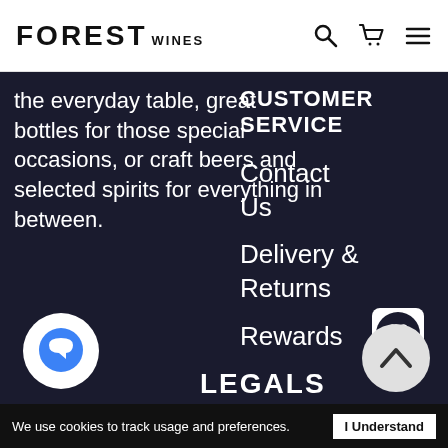FOREST WINES
the everyday table, great bottles for those special occasions, or craft beers and selected spirits for everything in between.
CUSTOMER SERVICE
Contact Us
Delivery & Returns
Rewards
LEGALS
We use cookies to track usage and preferences.